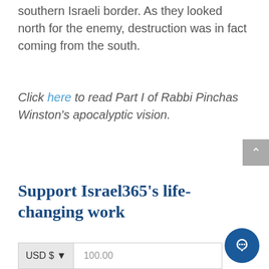southern Israeli border. As they looked north for the enemy, destruction was in fact coming from the south.
Click here to read Part I of Rabbi Pinchas Winston's apocalyptic vision.
Support Israel365's life-changing work